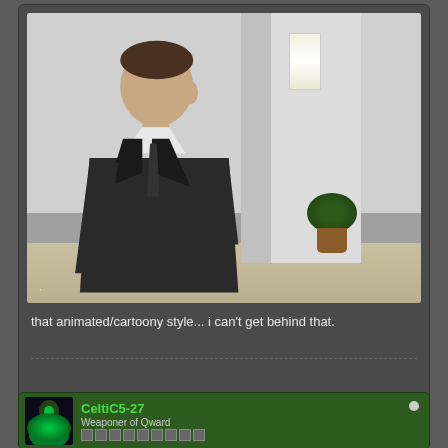[Figure (screenshot): Animated GIF showing a man in a dark suit walking past a white pillar in an indoor setting. The scene shows a hallway or lobby with light-colored walls, a wall-mounted light fixture, and a potted plant.]
that animated/cartoony style... i can't get behind that.
[Figure (screenshot): Forum post by user CeltiC5-27 with Green Lantern avatar, titled 'Weaponer of Qward' with reputation bars.]